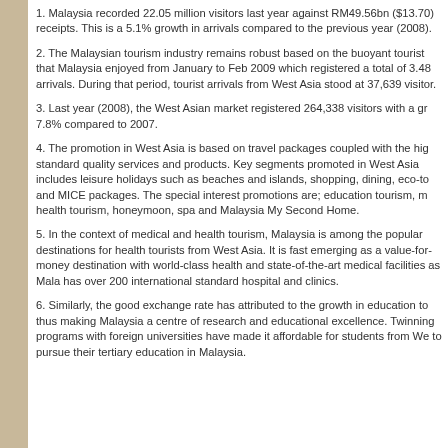1. Malaysia recorded 22.05 million visitors last year against RM49.56bn ($13.70) receipts. This is a 5.1% growth in arrivals compared to the previous year (2008).
2. The Malaysian tourism industry remains robust based on the buoyant tourist that Malaysia enjoyed from January to Feb 2009 which registered a total of 3.48 arrivals. During that period, tourist arrivals from West Asia stood at 37,639 visitors.
3. Last year (2008), the West Asian market registered 264,338 visitors with a growth of 7.8% compared to 2007.
4. The promotion in West Asia is based on travel packages coupled with the high standard quality services and products. Key segments promoted in West Asia includes leisure holidays such as beaches and islands, shopping, dining, eco-tourism and MICE packages. The special interest promotions are; education tourism, medical health tourism, honeymoon, spa and Malaysia My Second Home.
5. In the context of medical and health tourism, Malaysia is among the popular destinations for health tourists from West Asia. It is fast emerging as a value-for-money destination with world-class health and state-of-the-art medical facilities as Malaysia has over 200 international standard hospital and clinics.
6. Similarly, the good exchange rate has attributed to the growth in education tourism thus making Malaysia a centre of research and educational excellence. Twinning programs with foreign universities have made it affordable for students from West Asia to pursue their tertiary education in Malaysia.